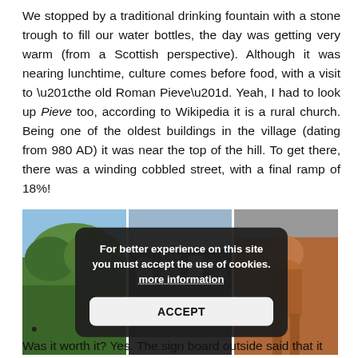We stopped by a traditional drinking fountain with a stone trough to fill our water bottles, the day was getting very warm (from a Scottish perspective). Although it was nearing lunchtime, culture comes before food, with a visit to “the old Roman Pieve”. Yeah, I had to look up Pieve too, according to Wikipedia it is a rural church. Being one of the oldest buildings in the village (dating from 980 AD) it was near the top of the hill. To get there, there was a winding cobbled street, with a final ramp of 18%!
[Figure (photo): Three photos in a row: left shows a green hillside landscape, middle shows a dark building facade, right shows an ancient stone statue. A cookie consent overlay popup covers the center, reading 'For better experience on this site you must accept the use of cookies. more information' with an ACCEPT button.]
Was it worth it? Yes. The sign board outside said that it